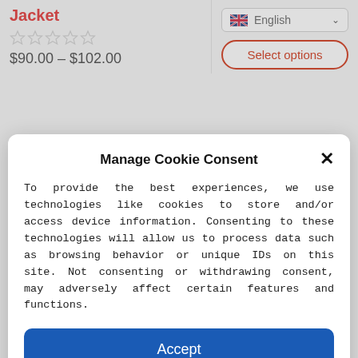Jacket
$90.00 – $102.00
English
Select options
Manage Cookie Consent
To provide the best experiences, we use technologies like cookies to store and/or access device information. Consenting to these technologies will allow us to process data such as browsing behavior or unique IDs on this site. Not consenting or withdrawing consent, may adversely affect certain features and functions.
Accept
Deny
View preferences
Cookie Policy   Privacy Policy   Terms And Conditions